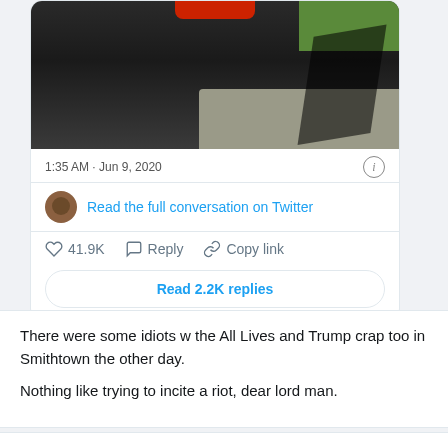[Figure (screenshot): Partial photo of a black vehicle on a street, shown inside a tweet card embed. Shows the rear/side of the vehicle with a shadow on the pavement and grass in the background.]
1:35 AM · Jun 9, 2020
Read the full conversation on Twitter
41.9K   Reply   Copy link
Read 2.2K replies
There were some idiots w the All Lives and Trump crap too in Smithtown the other day.

Nothing like trying to incite a riot, dear lord man.